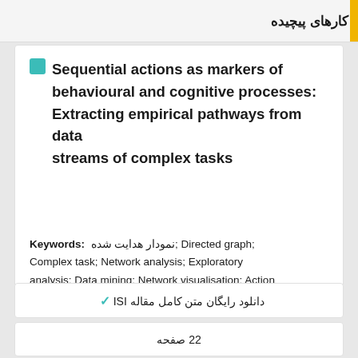کارهای پیچیده
Sequential actions as markers of behavioural and cognitive processes: Extracting empirical pathways from data streams of complex tasks
Keywords: نمودار هدایت شده; Directed graph; Complex task; Network analysis; Exploratory analysis; Data mining; Network visualisation; Action sequences
✓ دانلود رایگان متن کامل مقاله ISI
22 صفحه